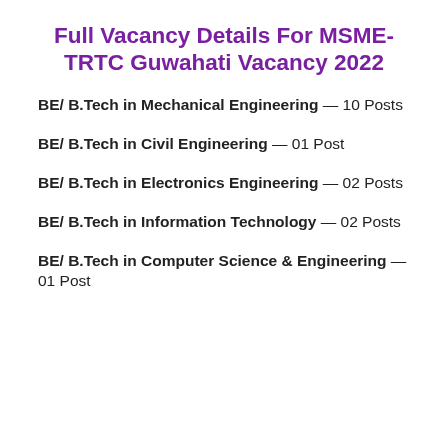Full Vacancy Details For MSME-TRTC Guwahati Vacancy 2022
BE/ B.Tech in Mechanical Engineering — 10 Posts
BE/ B.Tech in Civil Engineering — 01 Post
BE/ B.Tech in Electronics Engineering — 02 Posts
BE/ B.Tech in Information Technology — 02 Posts
BE/ B.Tech in Computer Science & Engineering — 01 Post